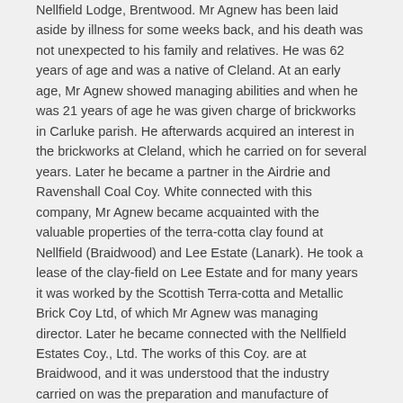Nellfield Lodge, Brentwood. Mr Agnew has been laid aside by illness for some weeks back, and his death was not unexpected to his family and relatives. He was 62 years of age and was a native of Cleland. At an early age, Mr Agnew showed managing abilities and when he was 21 years of age he was given charge of brickworks in Carluke parish. He afterwards acquired an interest in the brickworks at Cleland, which he carried on for several years. Later he became a partner in the Airdrie and Ravenshall Coal Coy. White connected with this company, Mr Agnew became acquainted with the valuable properties of the terra-cotta clay found at Nellfield (Braidwood) and Lee Estate (Lanark). He took a lease of the clay-field on Lee Estate and for many years it was worked by the Scottish Terra-cotta and Metallic Brick Coy Ltd, of which Mr Agnew was managing director. Later he became connected with the Nellfield Estates Coy., Ltd. The works of this Coy. are at Braidwood, and it was understood that the industry carried on was the preparation and manufacture of chemical